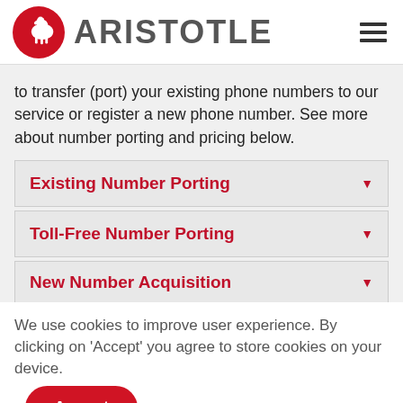[Figure (logo): Aristotle company logo with red circular icon of a horse/pegasus and grey 'ARISTOTLE' wordmark, plus hamburger menu icon on the right]
to transfer (port) your existing phone numbers to our service or register a new phone number. See more about number porting and pricing below.
Existing Number Porting
Toll-Free Number Porting
New Number Acquisition
We use cookies to improve user experience. By clicking on 'Accept' you agree to store cookies on your device.